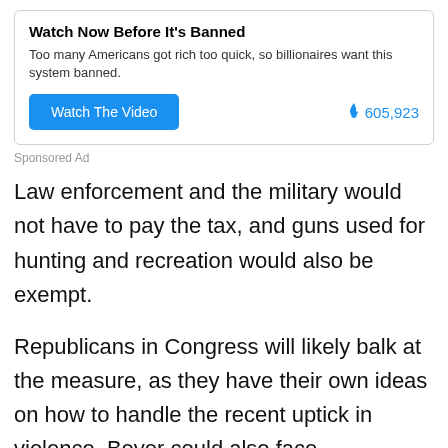[Figure (other): Sponsored advertisement box with title 'Watch Now Before It's Banned', body text, a blue 'Watch The Video' button, and a fire emoji with view count 605,923]
Sponsored Ad
Law enforcement and the military would not have to pay the tax, and guns used for hunting and recreation would also be exempt.
Republicans in Congress will likely balk at the measure, as they have their own ideas on how to handle the recent uptick in violence. Beyer could also face Democratic pushback because of the impact the idea may have on their